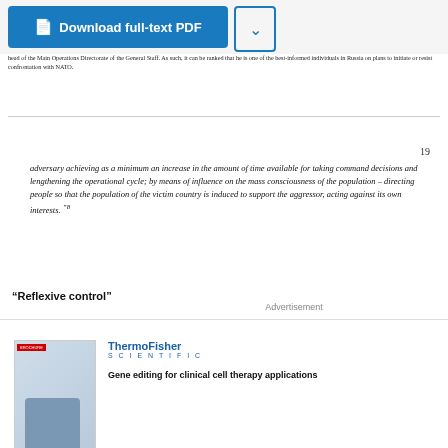[Figure (screenshot): Download full-text PDF button with dropdown arrow]
head of the Main Operations Directorate of the General Staff. As such, it can be ranked that he is one of the best-informed individuals in Russia on plans to initiate or resist confrontation with NATO.
19
adversary achieving as a minimum an increase in the amount of time available for taking command decisions and lengthening the operational cycle; by means of influence on the mass consciousness of the population – directing people so that the population of the victim country is induced to support the aggressor, acting against its own interests. "8
"Reflexive control"
Advertisement
[Figure (photo): ThermoFisher Scientific advertisement for gene editing for clinical cell therapy applications showing product brochure image and device]
Gene editing for clinical cell therapy applications